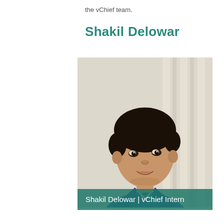the vChief team.
Shakil Delowar
[Figure (photo): Portrait photo of Shakil Delowar, a young man with curly dark hair wearing a blue suit jacket and white shirt, smiling slightly, photographed against a light blurred background.]
Shakil Delowar | vChief Intern